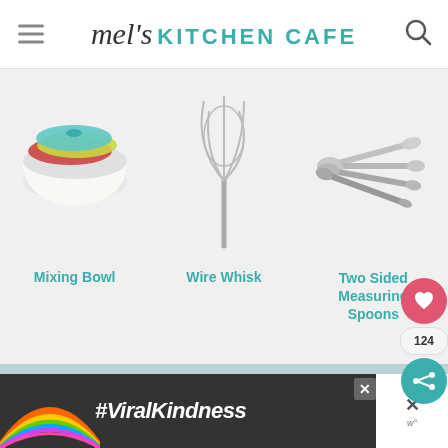mel's KITCHEN CAFE
[Figure (photo): Mixing bowl set with colorful lids]
Mixing Bowl
[Figure (photo): Wire whisk kitchen utensil]
Wire Whisk
[Figure (photo): Two sided measuring spoons set]
Two Sided Measuring Spoons
[Figure (logo): Instagram logo icon]
Follow @MelsKitchenCafe on Instagram and show me the recipes you are making from my blog using the hashtag #melskitchencafe. I love seeing all the goodness you are whipping up in your kitchens!
[Figure (photo): Advertisement banner with rainbow and #ViralKindness text]